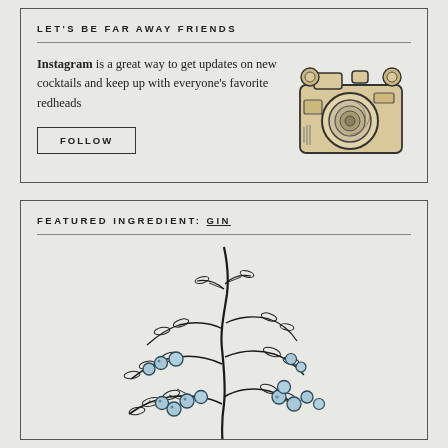LET'S BE FAR AWAY FRIENDS
Instagram is a great way to get updates on new cocktails and keep up with everyone's favorite redheads
FOLLOW
[Figure (illustration): Hand-drawn illustration of a vintage camera with tan/beige coloring]
FEATURED INGREDIENT: GIN
[Figure (illustration): Hand-drawn botanical illustration of a juniper plant with blue berries and green stems]